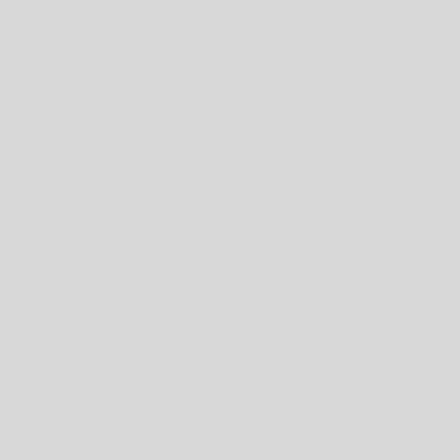| Time / ID | Session / Presenter |
| --- | --- |
| 19:14
THSA1606 | From c... sex wit...
Kimberl... |
| 19:22
THSA1607 | Self-tes... young ...
Valdilea...
Brazilia... |
| 19:30
THSA1608 | Uptake...
Nigeria...
Sylvia A... |
| 19:38
THSA1609 | Implem...
Parinita... |
| 19:46
THSA1610 | Modera...
Rose W...
Kevin C... |
| 20:22
THSA1611 | Closing...
Trista B... |